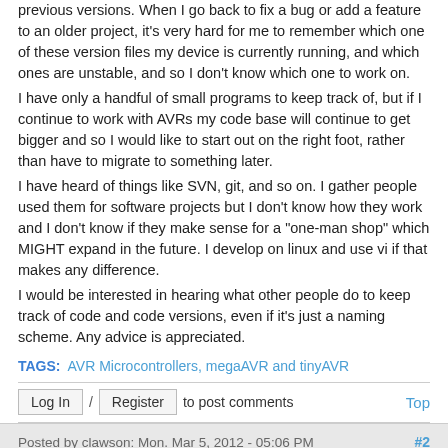previous versions. When I go back to fix a bug or add a feature to an older project, it's very hard for me to remember which one of these version files my device is currently running, and which ones are unstable, and so I don't know which one to work on.
I have only a handful of small programs to keep track of, but if I continue to work with AVRs my code base will continue to get bigger and so I would like to start out on the right foot, rather than have to migrate to something later.
I have heard of things like SVN, git, and so on. I gather people used them for software projects but I don't know how they work and I don't know if they make sense for a "one-man shop" which MIGHT expand in the future. I develop on linux and use vi if that makes any difference.
I would be interested in hearing what other people do to keep track of code and code versions, even if it's just a naming scheme. Any advice is appreciated.
TAGS: AVR Microcontrollers, megaAVR and tinyAVR
Log In / Register to post comments    Top
Posted by clawson: Mon. Mar 5, 2012 - 05:06 PM   #2
Quote: